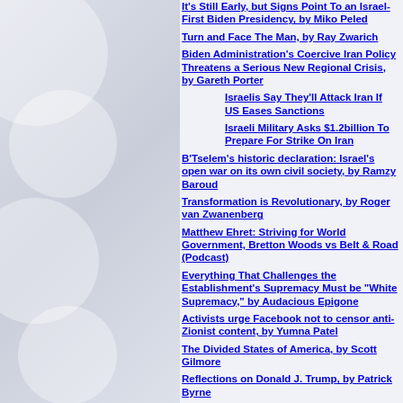It's Still Early, but Signs Point To an Israel-First Biden Presidency, by Miko Peled
Turn and Face The Man, by Ray Zwarich
Biden Administration's Coercive Iran Policy Threatens a Serious New Regional Crisis, by Gareth Porter
Israelis Say They'll Attack Iran If US Eases Sanctions
Israeli Military Asks $1.2billion To Prepare For Strike On Iran
B'Tselem's historic declaration: Israel's open war on its own civil society, by Ramzy Baroud
Transformation is Revolutionary, by Roger van Zwanenberg
Matthew Ehret: Striving for World Government, Bretton Woods vs Belt & Road (Podcast)
Everything That Challenges the Establishment's Supremacy Must be "White Supremacy," by Audacious Epigone
Activists urge Facebook not to censor anti-Zionist content, by Yumna Patel
The Divided States of America, by Scott Gilmore
Reflections on Donald J. Trump, by Patrick Byrne